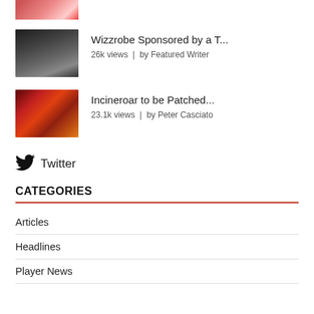[Figure (photo): Partial thumbnail of article at top, cropped person image]
[Figure (photo): Thumbnail of a man with glasses, dark shirt, gaming event context]
Wizzrobe Sponsored by a T...
26k views | by Featured Writer
[Figure (photo): Thumbnail of Incineroar, a red and black Pokemon, from Super Smash Bros]
Incineroar to be Patched...
23.1k views | by Peter Casciato
[Figure (logo): Twitter bird icon]
Twitter
CATEGORIES
Articles
Headlines
Player News